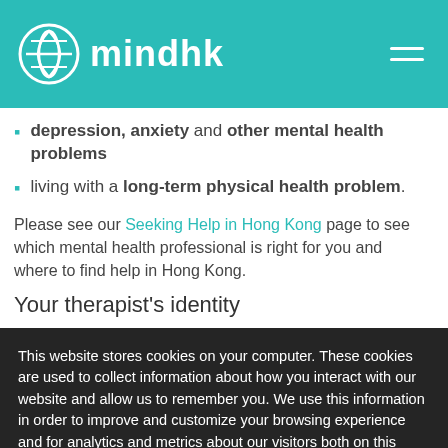mindhk
depression, anxiety and other mental health problems
living with a long-term physical health problem.
Please see our Seeking Help in Hong Kong page to see which mental health professional is right for you and where to find help in Hong Kong.
Your therapist's identity
This website stores cookies on your computer. These cookies are used to collect information about how you interact with our website and allow us to remember you. We use this information in order to improve and customize your browsing experience and for analytics and metrics about our visitors both on this website and other media. To find out more about the cookies we use, see our Privacy Policy.